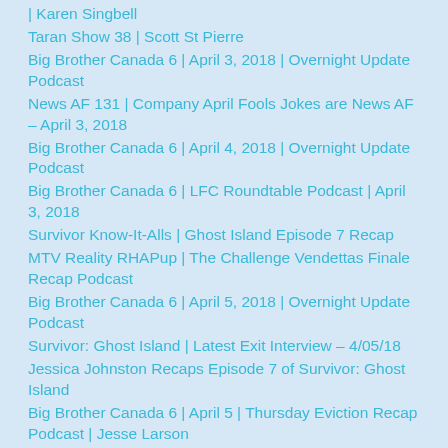| Karen Singbell
Taran Show 38 | Scott St Pierre
Big Brother Canada 6 | April 3, 2018 | Overnight Update Podcast
News AF 131 | Company April Fools Jokes are News AF – April 3, 2018
Big Brother Canada 6 | April 4, 2018 | Overnight Update Podcast
Big Brother Canada 6 | LFC Roundtable Podcast | April 3, 2018
Survivor Know-It-Alls | Ghost Island Episode 7 Recap
MTV Reality RHAPup | The Challenge Vendettas Finale Recap Podcast
Big Brother Canada 6 | April 5, 2018 | Overnight Update Podcast
Survivor: Ghost Island | Latest Exit Interview – 4/05/18
Jessica Johnston Recaps Episode 7 of Survivor: Ghost Island
Big Brother Canada 6 | April 5 | Thursday Eviction Recap Podcast | Jesse Larson